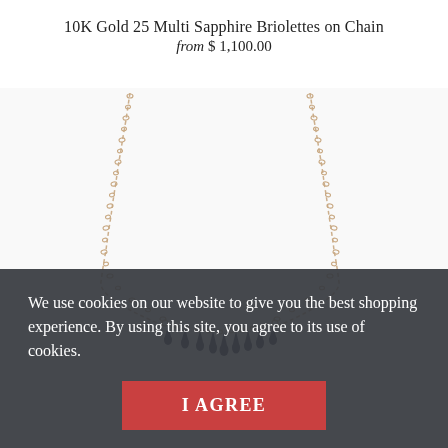10K Gold 25 Multi Sapphire Briolettes on Chain
from $ 1,100.00
[Figure (photo): A gold chain necklace with multiple dark sapphire briolette gemstones. The chain forms a V-shape hanging down, with the sapphire briolettes clustered at the bottom center. The background is white.]
We use cookies on our website to give you the best shopping experience. By using this site, you agree to its use of cookies.
I AGREE